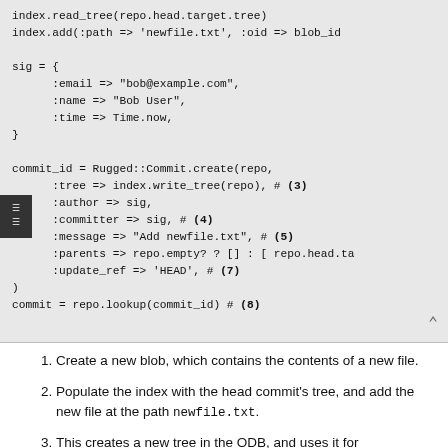index.read_tree(repo.head.target.tree)
index.add(:path => 'newfile.txt', :oid => blob_id

sig = {
      :email => "bob@example.com",
      :name => "Bob User",
      :time => Time.now,
}

commit_id = Rugged::Commit.create(repo,
      :tree => index.write_tree(repo), # (3)
      :author => sig,
      :committer => sig, # (4)
      :message => "Add newfile.txt", # (5)
      :parents => repo.empty? ? [] : [ repo.head.ta
      :update_ref => 'HEAD', # (7)
)
commit = repo.lookup(commit_id) # (8)
Create a new blob, which contains the contents of a new file.
Populate the index with the head commit's tree, and add the new file at the path newfile.txt.
This creates a new tree in the ODB, and uses it for